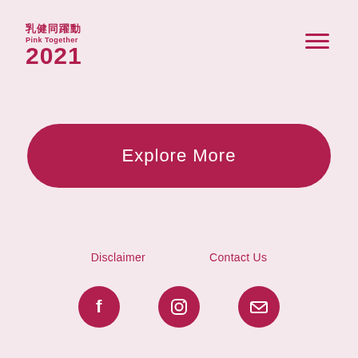[Figure (logo): Pink Together 2021 logo with Chinese characters 乳健同躍動 and English subtitle Pink Together 2021 in dark pink/crimson color]
[Figure (other): Hamburger menu icon (three horizontal lines) in dark pink/crimson color]
Explore More
Disclaimer
Contact Us
[Figure (other): Social media icons: Facebook, Instagram, and Email in dark pink circular buttons]